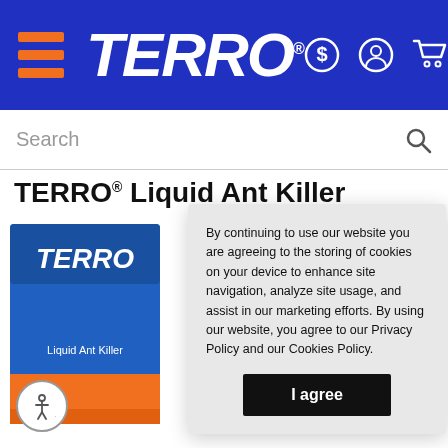[Figure (screenshot): TERRO website header with blue background, orange hamburger menu lines on left, large italic bold white TERRO logo in center, and dollar sign, person, and shopping cart icons on right]
[Figure (screenshot): Search bar with placeholder text 'Search' and magnifying glass icon on right]
TERRO® Liquid Ant Killer
[Figure (photo): TERRO product box partially visible on left side of page, blue and orange packaging]
By continuing to use our website you are agreeing to the storing of cookies on your device to enhance site navigation, analyze site usage, and assist in our marketing efforts. By using our website, you agree to our Privacy Policy and our Cookies Policy.
[Figure (other): Black 'I agree' button for cookie consent]
[Figure (other): Circular accessibility widget icon in bottom left corner]